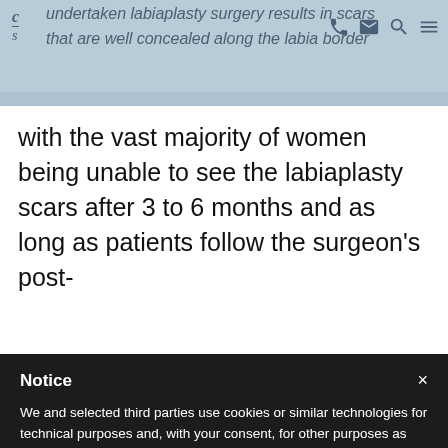undertaken labiaplasty surgery results in scars that are well concealed along the labia border
with the vast majority of women being unable to see the labiaplasty scars after 3 to 6 months and as long as patients follow the surgeon’s post-
Notice
We and selected third parties use cookies or similar technologies for technical purposes and, with your consent, for other purposes as specified in the cookie policy. Denying consent may make related features unavailable.
Use the “Accept” button or close this notice to consent to the use of such technologies.
Accept
Learn more and customise